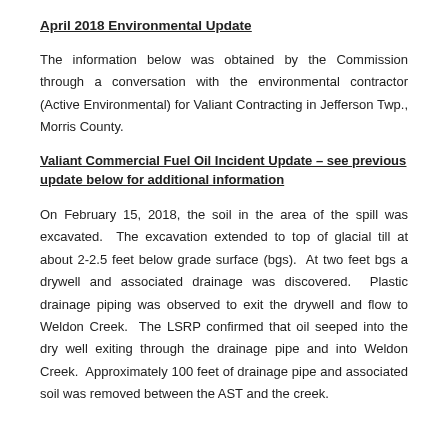April 2018 Environmental Update
The information below was obtained by the Commission through a conversation with the environmental contractor (Active Environmental) for Valiant Contracting in Jefferson Twp., Morris County.
Valiant Commercial Fuel Oil Incident Update – see previous update below for additional information
On February 15, 2018, the soil in the area of the spill was excavated.  The excavation extended to top of glacial till at about 2-2.5 feet below grade surface (bgs).  At two feet bgs a drywell and associated drainage was discovered.  Plastic drainage piping was observed to exit the drywell and flow to Weldon Creek.  The LSRP confirmed that oil seeped into the dry well exiting through the drainage pipe and into Weldon Creek.  Approximately 100 feet of drainage pipe and associated soil was removed between the AST and the creek.